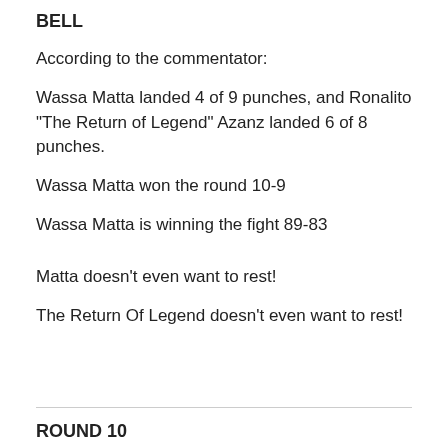BELL
According to the commentator:
Wassa Matta landed 4 of 9 punches, and Ronalito "The Return of Legend" Azanz landed 6 of 8 punches.
Wassa Matta won the round 10-9
Wassa Matta is winning the fight 89-83
Matta doesn't even want to rest!
The Return Of Legend doesn't even want to rest!
ROUND 10